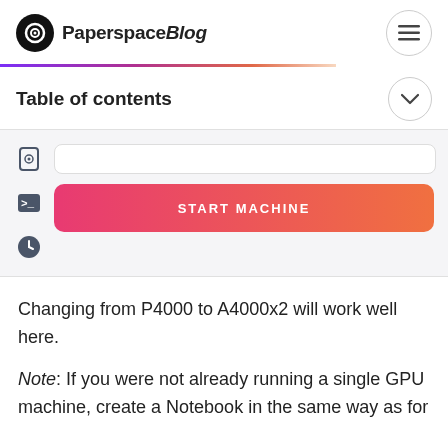PaperspaceBlog
[Figure (screenshot): Paperspace machine console screenshot showing a START MACHINE gradient button with sidebar icons]
Table of contents
Changing from P4000 to A4000x2 will work well here.
Note: If you were not already running a single GPU machine, create a Notebook in the same way as for